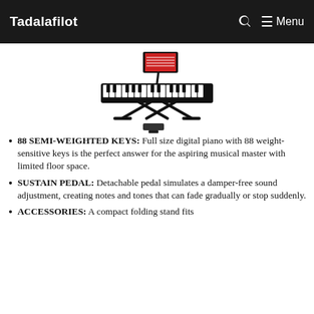Tadalafilot | Menu
[Figure (illustration): Digital piano/keyboard on an X-stand with a music stand on top and a sustain pedal below, shown in black against a white background.]
88 SEMI-WEIGHTED KEYS: Full size digital piano with 88 weight-sensitive keys is the perfect answer for the aspiring musical master with limited floor space.
SUSTAIN PEDAL: Detachable pedal simulates a damper-free sound adjustment, creating notes and tones that can fade gradually or stop suddenly.
ACCESSORIES: A compact folding stand fits